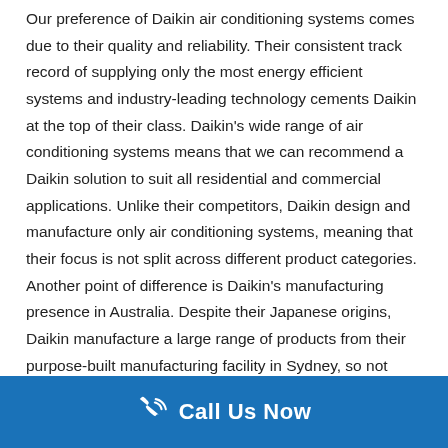Our preference of Daikin air conditioning systems comes due to their quality and reliability. Their consistent track record of supplying only the most energy efficient systems and industry-leading technology cements Daikin at the top of their class. Daikin's wide range of air conditioning systems means that we can recommend a Daikin solution to suit all residential and commercial applications. Unlike their competitors, Daikin design and manufacture only air conditioning systems, meaning that their focus is not split across different product categories. Another point of difference is Daikin's manufacturing presence in Australia. Despite their Japanese origins, Daikin manufacture a large range of products from their purpose-built manufacturing facility in Sydney, so not
Call Us Now